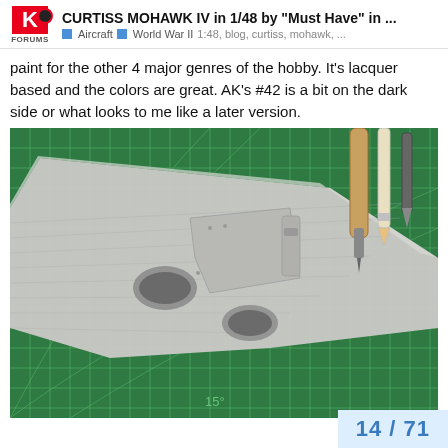CURTISS MOHAWK IV in 1/48 by "Must Have" in ...
Aircraft  World War II  1:48, blog, curtiss, mohawk, ...
paint for the other 4 major genres of the hobby. It's lacquer based and the colors are great. AK's #42 is a bit on the dark side or what looks to me like a later version.
[Figure (photo): A gray plastic model aircraft wing assembly placed on a green cutting mat with white grid lines. Hobby tools (pencil and blade) are visible in the upper right corner. The cutting mat shows angle markings including 15 degrees.]
14 / 71